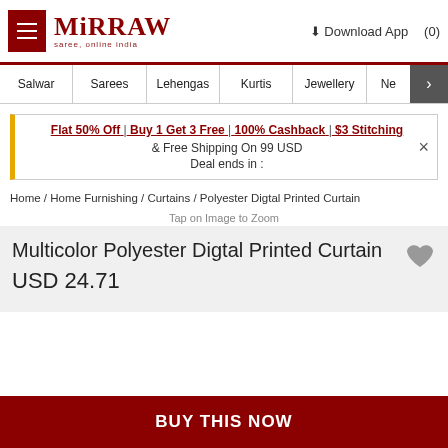Mirraw — saree, online india | Download App | (0)
Salwar | Sarees | Lehengas | Kurtis | Jewellery | Ne >
Flat 50% Off | Buy 1 Get 3 Free | 100% Cashback | $3 Stitching & Free Shipping On 99 USD Deal ends in :
Home / Home Furnishing / Curtains / Polyester Digtal Printed Curtain
Tap on Image to Zoom
Multicolor Polyester Digtal Printed Curtain
USD 24.71
BUY THIS NOW